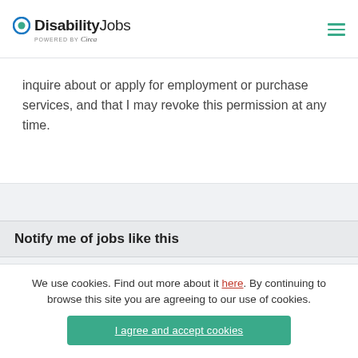DisabilityJobs powered by Circa
inquire about or apply for employment or purchase services, and that I may revoke this permission at any time.
Notify me of jobs like this
We use cookies. Find out more about it here. By continuing to browse this site you are agreeing to our use of cookies.
I agree and accept cookies